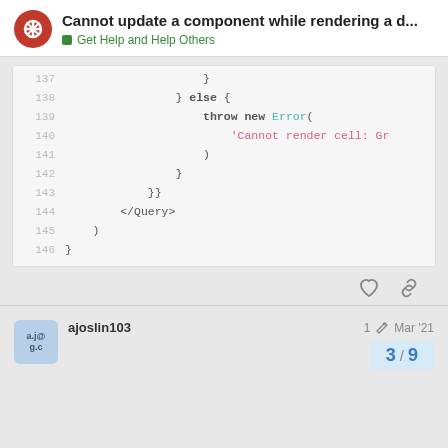Cannot update a component while rendering a d... — Get Help and Help Others
[Figure (screenshot): Code block showing lines 137-146 of JavaScript/JSX code with syntax highlighting. Lines show closing braces, else block with throw new Error, 'Cannot render cell: Gr, closing parenthesis and braces, </Query> tag, and closing parentheses/braces.]
ajoslin103  1  Mar '21
3 / 9